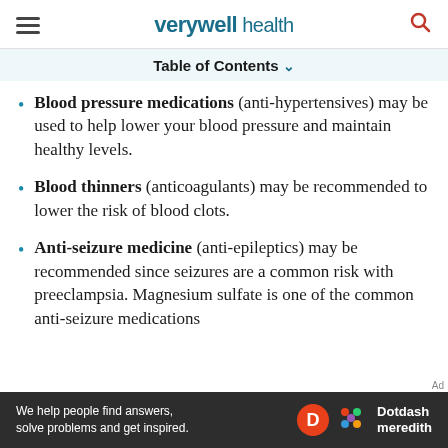verywell health
Table of Contents
Blood pressure medications (anti-hypertensives) may be used to help lower your blood pressure and maintain healthy levels.
Blood thinners (anticoagulants) may be recommended to lower the risk of blood clots.
Anti-seizure medicine (anti-epileptics) may be recommended since seizures are a common risk with preeclampsia. Magnesium sulfate is one of the common anti-seizure medications
[Figure (other): Dotdash Meredith advertisement banner: 'We help people find answers, solve problems and get inspired.']